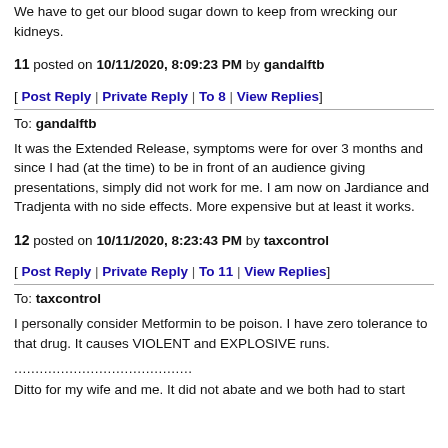We have to get our blood sugar down to keep from wrecking our kidneys.
11 posted on 10/11/2020, 8:09:23 PM by gandalftb
[ Post Reply | Private Reply | To 8 | View Replies]
To: gandalftb
It was the Extended Release, symptoms were for over 3 months and since I had (at the time) to be in front of an audience giving presentations, simply did not work for me. I am now on Jardiance and Tradjenta with no side effects. More expensive but at least it works.
12 posted on 10/11/2020, 8:23:43 PM by taxcontrol
[ Post Reply | Private Reply | To 11 | View Replies]
To: taxcontrol
I personally consider Metformin to be poison. I have zero tolerance to that drug. It causes VIOLENT and EXPLOSIVE runs.
..........................................
Ditto for my wife and me. It did not abate and we both had to start